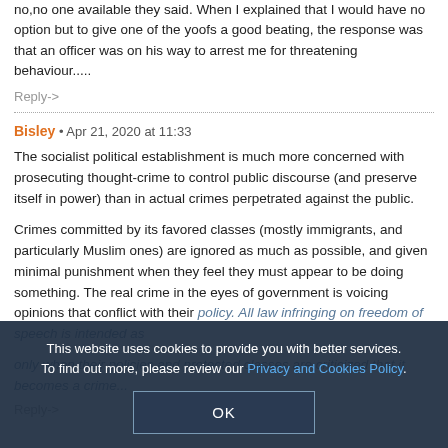no,no one available they said. When I explained that I would have no option but to give one of the yoofs a good beating, the response was that an officer was on his way to arrest me for threatening behaviour.....
Reply->
Bisley • Apr 21, 2020 at 11:33
The socialist political establishment is much more concerned with prosecuting thought-crime to control public discourse (and preserve itself in power) than in actual crimes perpetrated against the public.
Crimes committed by its favored classes (mostly immigrants, and particularly Muslim ones) are ignored as much as possible, and given minimal punishment when they feel they must appear to be doing something. The real crime in the eyes of government is voicing opinions that conflict with their policy. All law infringing on freedom of speech is intended as ... only when their policies and protected classes are criticized that it becomes a crime...
Reply->
This website uses cookies to provide you with better services. To find out more, please review our Privacy and Cookies Policy.
OK